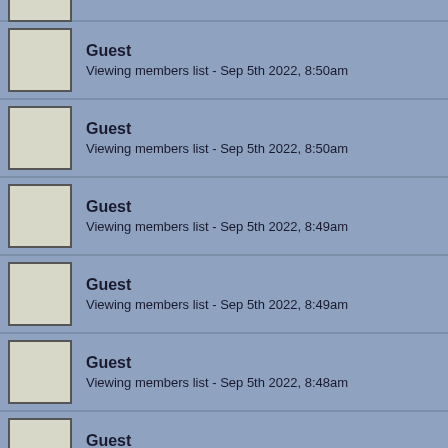Guest - Viewing members list - Sep 5th 2022, 8:50am
Guest - Viewing members list - Sep 5th 2022, 8:50am
Guest - Viewing members list - Sep 5th 2022, 8:49am
Guest - Viewing members list - Sep 5th 2022, 8:49am
Guest - Viewing members list - Sep 5th 2022, 8:48am
Guest - Unknown location - Sep 5th 2022, 8:48am
Guest - Unknown location - Sep 5th 2022, 8:48am